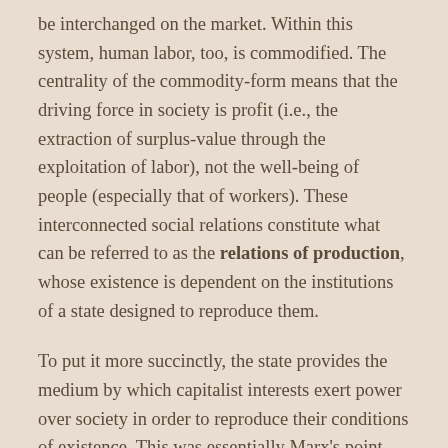be interchanged on the market. Within this system, human labor, too, is commodified. The centrality of the commodity-form means that the driving force in society is profit (i.e., the extraction of surplus-value through the exploitation of labor), not the well-being of people (especially that of workers). These interconnected social relations constitute what can be referred to as the relations of production, whose existence is dependent on the institutions of a state designed to reproduce them.
To put it more succinctly, the state provides the medium by which capitalist interests exert power over society in order to reproduce their conditions of existence. This was essentially Marx's point when he argued that the legal and political structures of a society correspond to its mode of production. All superstructural (or non-economic) practices occur within the context of the